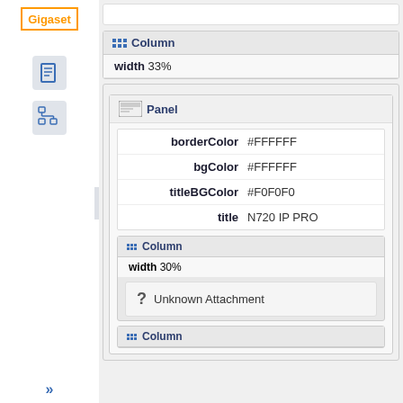[Figure (screenshot): Gigaset logo in orange text with orange border]
[Figure (screenshot): Sidebar icons: document icon and hierarchy icon]
Column
width 33%
Panel
| Property | Value |
| --- | --- |
| borderColor | #FFFFFF |
| bgColor | #FFFFFF |
| titleBGColor | #F0F0F0 |
| title | N720 IP PRO |
Column
width 30%
? Unknown Attachment
Column